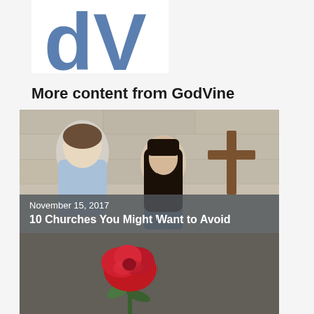[Figure (logo): Partial GodVine logo — large stylized 'dV' letters in blue, cropped at top]
More content from GodVine
[Figure (photo): A man and a woman sitting near a stone wall with a wooden cross in the background. Semi-transparent dark overlay at the bottom shows date 'November 15, 2017' and title '10 Churches You Might Want to Avoid']
[Figure (photo): Bottom of page: dark blurred background with a red rose in the foreground, partially cropped]